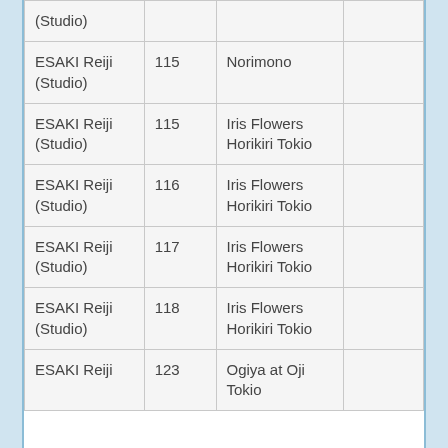| Artist | No. | Title |  |
| --- | --- | --- | --- |
| (Studio) |  |  |  |
| ESAKI Reiji (Studio) | 115 | Norimono |  |
| ESAKI Reiji (Studio) | 115 | Iris Flowers Horikiri Tokio |  |
| ESAKI Reiji (Studio) | 116 | Iris Flowers Horikiri Tokio |  |
| ESAKI Reiji (Studio) | 117 | Iris Flowers Horikiri Tokio |  |
| ESAKI Reiji (Studio) | 118 | Iris Flowers Horikiri Tokio |  |
| ESAKI Reiji | 123 | Ogiya at Oji Tokio |  |